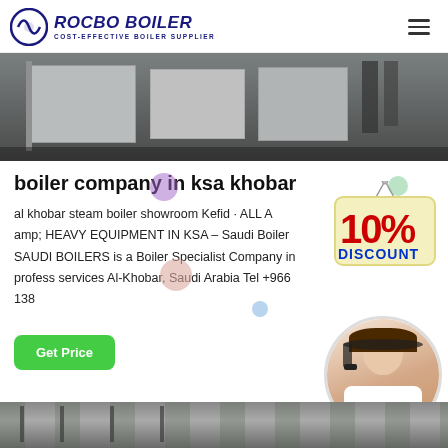ROCBO BOILER — COST-EFFECTIVE BOILER SUPPLIER
[Figure (photo): Industrial boiler equipment outdoors, large metal structures and workers visible]
boiler company in ksa khobar
[Figure (infographic): 10% DISCOUNT promotional badge]
al khobar steam boiler showroom Kefid · ALL A amp; HEAVY EQUIPMENT IN KSA – Saudi Boiler SAUDI BOILERS is a Boiler Specialist Company in profess services Al-Khobar, Saudi Arabia Tel +966 138
[Figure (photo): Customer service representative wearing headset, smiling]
[Figure (photo): Industrial interior with structural framework, partial view at bottom of page]